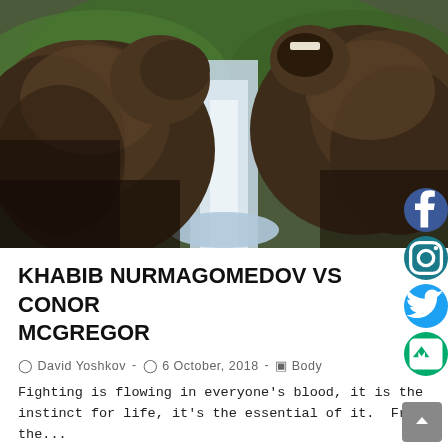[Figure (photo): Two brown bears wrestling/fighting near a waterfall, photographed in nature with green foliage in background.]
KHABIB NURMAGOMEDOV VS CONOR MCGREGOR
David Yoshkov - 6 October, 2018 - Body
Fighting is flowing in everyone's blood, it is the instinct for life, it's the essential of it.  From the...